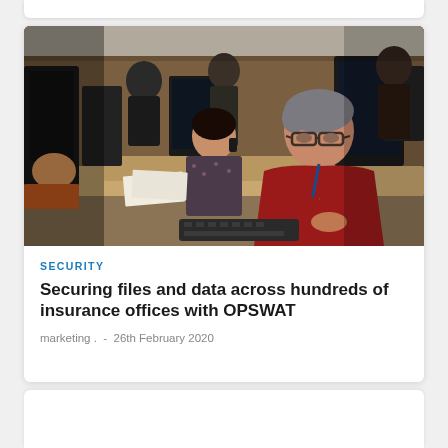[Figure (photo): Office environment with multiple workers sitting at computer workstations. A man in a red shirt wearing glasses and a lanyard is prominent in the foreground. A woman in a patterned top is talking on the phone. Several other workers are visible in the background in what appears to be an insurance or data center office.]
SECURITY
Securing files and data across hundreds of insurance offices with OPSWAT
marketing . - 26th February 2020